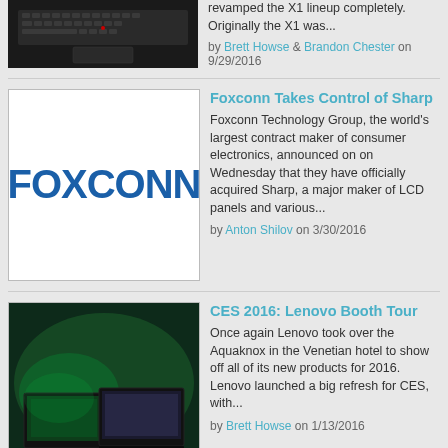[Figure (photo): ThinkPad laptop keyboard partial view from above, dark background]
revamped the X1 lineup completely. Originally the X1 was...
by Brett Howse & Brandon Chester on 9/29/2016
[Figure (logo): Foxconn logo in dark blue on white background]
Foxconn Takes Control of Sharp
Foxconn Technology Group, the world's largest contract maker of consumer electronics, announced on on Wednesday that they have officially acquired Sharp, a major maker of LCD panels and various...
by Anton Shilov on 3/30/2016
[Figure (photo): Lenovo laptops on display with green lighting at CES 2016 booth]
CES 2016: Lenovo Booth Tour
Once again Lenovo took over the Aquaknox in the Venetian hotel to show off all of its new products for 2016. Lenovo launched a big refresh for CES, with...
by Brett Howse on 1/13/2016
[Figure (photo): Dell display screen showing colorful gaming/menu interface at CES 2016]
CES 2016: Dell Booth Tour
In 2015, Dell's CES product launch included the redesigned XPS 13, arguably one of the best Windows laptops on the market today. With the launch of Skylake, the XPS...